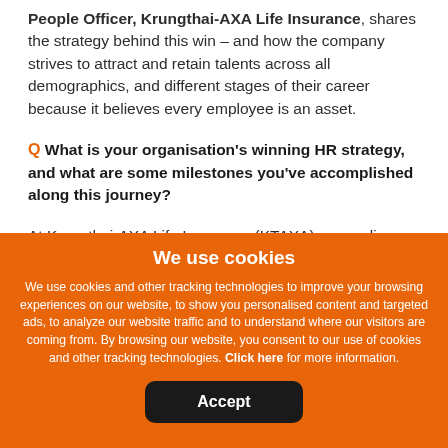People Officer, Krungthai-AXA Life Insurance, shares the strategy behind this win – and how the company strives to attract and retain talents across all demographics, and different stages of their career because it believes every employee is an asset.
Q What is your organisation's winning HR strategy, and what are some milestones you've accomplished along this journey?
At Krungthai-AXA Life Insurance (KTAXA), we realise
We use cookies
We use cookies and other tracking technologies to improve your browsing experiences on our website, to show you personalised content and targeted ads, to analyze our website traffic and to understand where our visitors are coming from. By browsing our website, you consent to our use of cookies and other tracking technologies. Click here for more information.
Accept